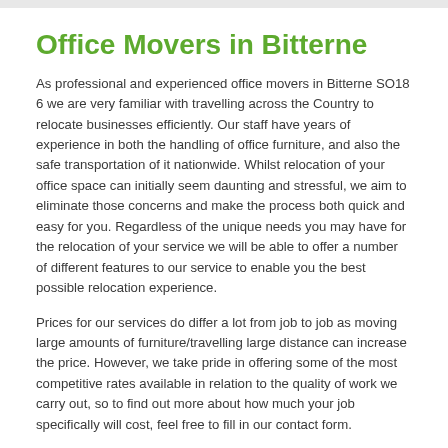Office Movers in Bitterne
As professional and experienced office movers in Bitterne SO18 6 we are very familiar with travelling across the Country to relocate businesses efficiently. Our staff have years of experience in both the handling of office furniture, and also the safe transportation of it nationwide. Whilst relocation of your office space can initially seem daunting and stressful, we aim to eliminate those concerns and make the process both quick and easy for you. Regardless of the unique needs you may have for the relocation of your service we will be able to offer a number of different features to our service to enable you the best possible relocation experience.
Prices for our services do differ a lot from job to job as moving large amounts of furniture/travelling large distance can increase the price. However, we take pride in offering some of the most competitive rates available in relation to the quality of work we carry out, so to find out more about how much your job specifically will cost, feel free to fill in our contact form.